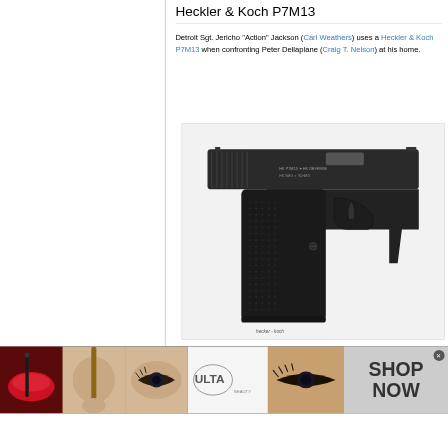Heckler & Koch P7M13
Detroit Sgt. Jericho "Action" Jackson (Carl Weathers) uses a Heckler & Koch P7M13 when confronting Peter Dellaplane (Craig T. Nelson) at his home.
[Figure (photo): Photo of a Heckler & Koch P7M13 pistol, shown in profile against a white background, with dark finish and textured grip]
[Figure (photo): Ulta Beauty advertisement banner showing makeup-related images and 'SHOP NOW' text]